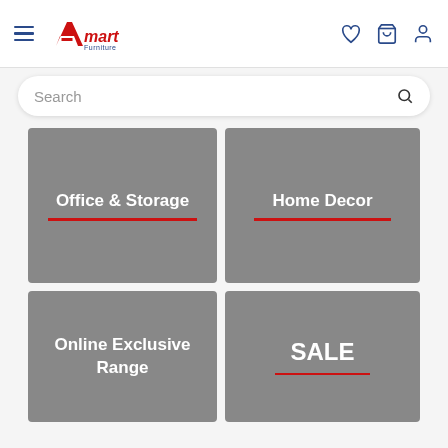Amart Furniture
Search
[Figure (screenshot): Office & Storage category tile]
[Figure (screenshot): Home Decor category tile]
[Figure (screenshot): Online Exclusive Range category tile]
[Figure (screenshot): SALE category tile]